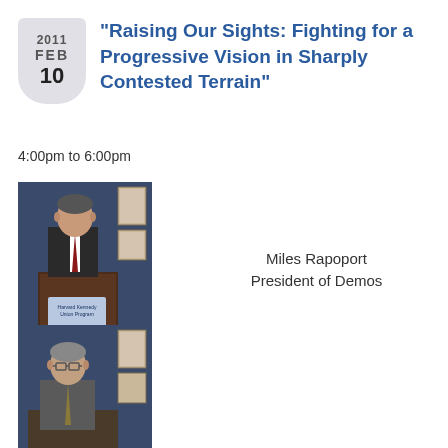"Raising Our Sights: Fighting for a Progressive Vision in Sharply Contested Terrain"
4:00pm to 6:00pm
[Figure (photo): Man in dark suit speaking at a podium with a microphone, Harvard Union Catering Program sign visible on podium, framed artwork on blue wall in background]
Miles Rapoport
President of Demos
[Figure (photo): Man with glasses wearing a suit at a podium or lectern, blue wall with framed artwork visible in background]